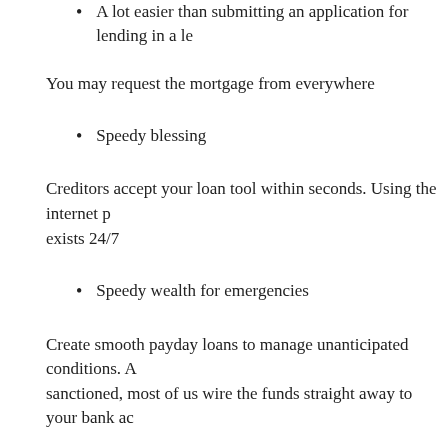A lot easier than submitting an application for lending in a le…
You may request the mortgage from everywhere
Speedy blessing
Creditors accept your loan tool within seconds. Using the internet p… exists 24/7
Speedy wealth for emergencies
Create smooth payday loans to manage unanticipated conditions. A… sanctioned, most of us wire the funds straight away to your bank ac…
Online finance payment phrases
The borrowed funds words will depend on the key measure along w… reside.